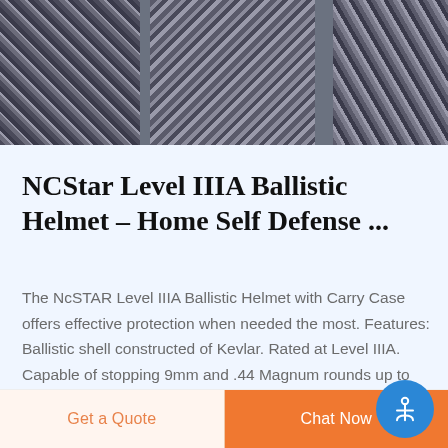[Figure (photo): Camouflage pattern military helmet product image shown from multiple angles against dark digital camo background]
NCStar Level IIIA Ballistic Helmet – Home Self Defense ...
The NcSTAR Level IIIA Ballistic Helmet with Carry Case offers effective protection when needed the most. Features: Ballistic shell constructed of Kevlar. Rated at Level IIIA. Capable of stopping 9mm and .44 Magnum rounds up to 1,400 FPS. Four-point retention system and suspension system for added comfort and stability